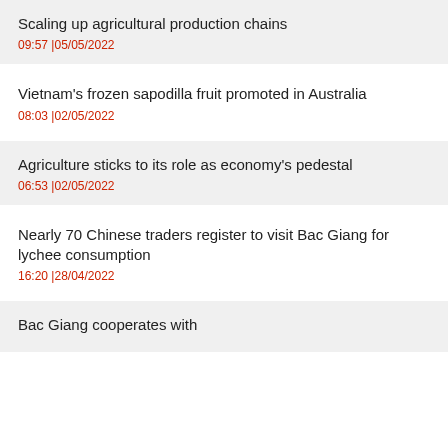Scaling up agricultural production chains
09:57 |05/05/2022
Vietnam's frozen sapodilla fruit promoted in Australia
08:03 |02/05/2022
Agriculture sticks to its role as economy's pedestal
06:53 |02/05/2022
Nearly 70 Chinese traders register to visit Bac Giang for lychee consumption
16:20 |28/04/2022
Bac Giang cooperates with